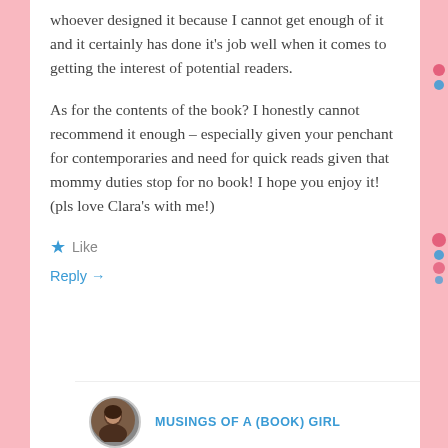whoever designed it because I cannot get enough of it and it certainly has done it’s job well when it comes to getting the interest of potential readers.
As for the contents of the book? I honestly cannot recommend it enough – especially given your penchant for contemporaries and need for quick reads given that mommy duties stop for no book! I hope you enjoy it! (pls love Clara’s with me!)
Like
Reply →
MUSINGS OF A (BOOK) GIRL